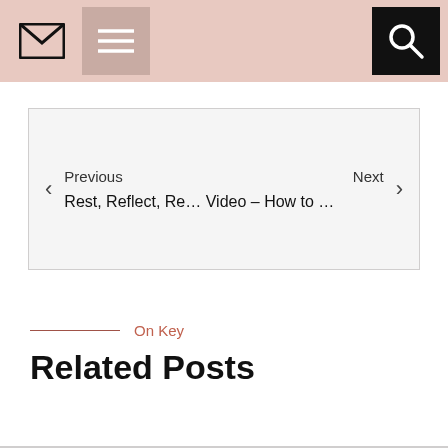Previous  Rest, Reflect, Re…  Next  Video – How to …
On Key
Related Posts